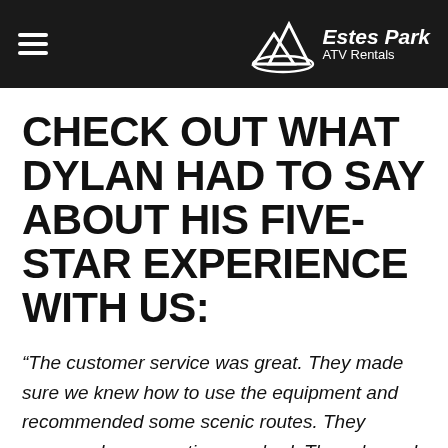Estes Park ATV Rentals
Check out what Dylan had to say about his five-star experience with us:
“The customer service was great. They made sure we knew how to use the equipment and recommended some scenic routes. They answered any questions we had. They showed us how to use the trail map system which was really cool. Having upgraded equipment really made it an experience listening to music and following a trail map so we didn’t get lost. The trails were really easy to follow. We will definitely